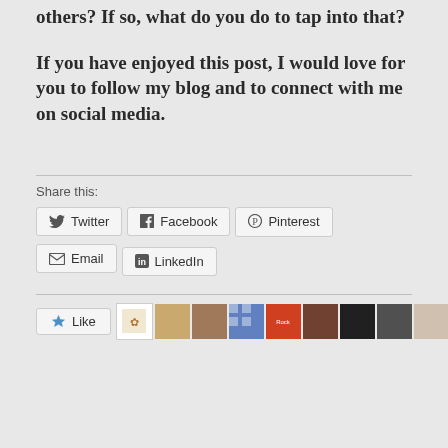others? If so, what do you do to tap into that?
If you have enjoyed this post, I would love for you to follow my blog and to connect with me on social media.
Share this:
Twitter | Facebook | Pinterest | Email | LinkedIn
[Figure (other): Like button and row of user avatar thumbnails]